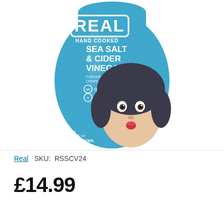[Figure (photo): Product photo of Real Hand Cooked Sea Salt & Cider Vinegar crisps bag. Blue bag with woman's face making a funny expression. Text on bag: REAL, HAND COOKED, SEA SALT & CIDER VINEGAR, FLAVOUR POTATO CRISPS, Gluten Free, Vegan, WITH BAGS OF CHARACTER.]
Real   SKU:  RSSCV24
£14.99